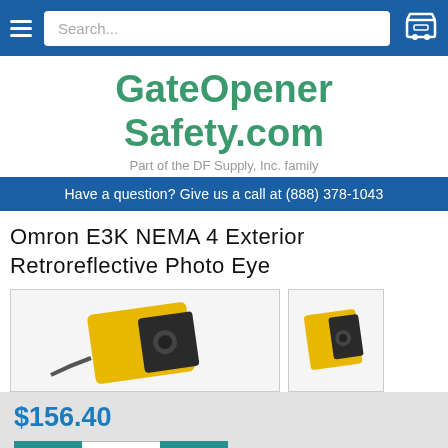Search...
GateOpener Safety.com
Part of the DF Supply, Inc. family
Have a question? Give us a call at (888) 378-1043
Omron E3K NEMA 4 Exterior Retroreflective Photo Eye
[Figure (photo): Yellow and black Omron E3K photo eye sensor product image]
$156.40
- 1 +
Add to Cart